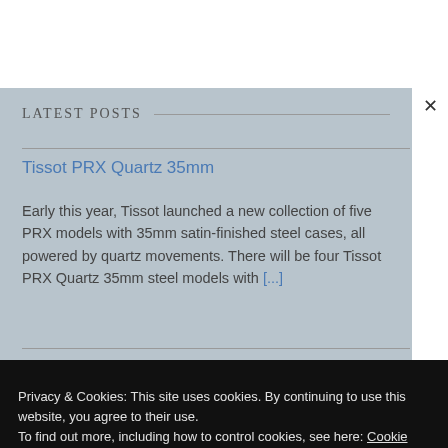LATEST POSTS
Tissot PRX Quartz 35mm
Early this year, Tissot launched a new collection of five PRX models with 35mm satin-finished steel cases, all powered by quartz movements. There will be four Tissot PRX Quartz 35mm steel models with [...]
Privacy & Cookies: This site uses cookies. By continuing to use this website, you agree to their use.
To find out more, including how to control cookies, see here: Cookie Policy